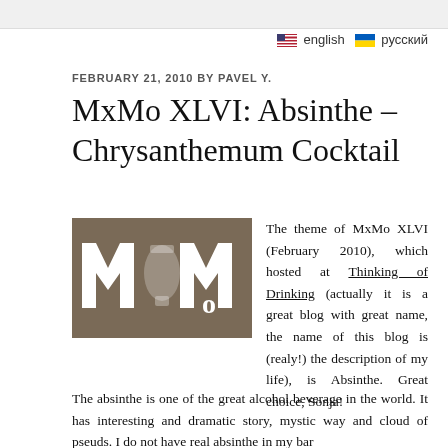english  русский
FEBRUARY 21, 2010 BY PAVEL Y.
MxMo XLVI: Absinthe – Chrysanthemum Cocktail
[Figure (logo): MxMo logo — stylized letters M and Mo with a cocktail shaker silhouette on a taupe/brown background]
The theme of MxMo XLVI (February 2010), which hosted at Thinking of Drinking (actually it is a great blog with great name, the name of this blog is (realy!) the description of my life), is Absinthe. Great choice, Sonja!
The absinthe is one of the great alcohol beverage in the world. It has interesting and dramatic story, mystic way and cloud of pseuds. I do not have real absinthe in my bar